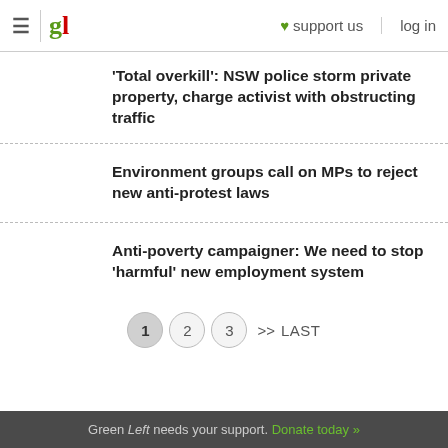gl | ≡ | ♥ support us | log in
'Total overkill': NSW police storm private property, charge activist with obstructing traffic
Environment groups call on MPs to reject new anti-protest laws
Anti-poverty campaigner: We need to stop 'harmful' new employment system
1  2  3  >>  LAST
Green Left needs your support. Donate today »